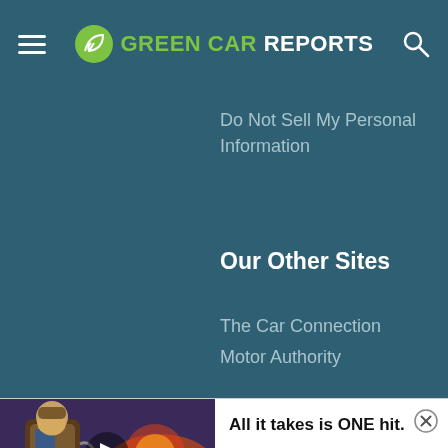GREEN CAR REPORTS
Do Not Sell My Personal Information
Our Other Sites
The Car Connection
Motor Authority
[Figure (screenshot): Animated video game character advertisement thumbnail with play button]
All it takes is ONE hit.